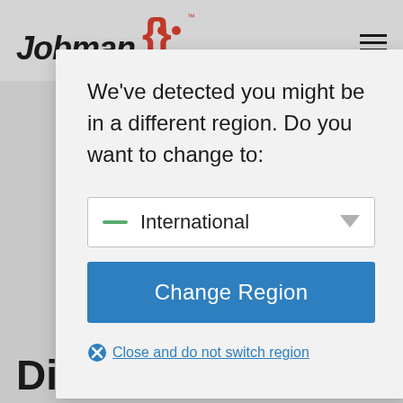[Figure (logo): Jobman logo with curly-brace robot icon and hamburger menu]
We've detected you might be in a different region. Do you want to change to:
[Figure (screenshot): Dropdown selector showing 'International' with green dash flag icon and grey arrow]
[Figure (screenshot): Blue 'Change Region' button]
Close and do not switch region
Discover How